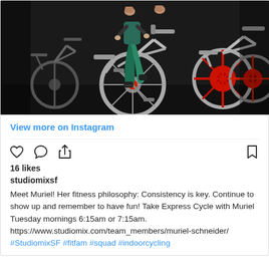[Figure (photo): People riding indoor cycling/spinning bikes in a gym. The central rider wears teal/green leggings and black shoes on a silver stationary bike. Other bikes visible in background with red wheel accents.]
View more on Instagram
16 likes
studiomixsf
Meet Muriel! Her fitness philosophy: Consistency is key. Continue to show up and remember to have fun! Take Express Cycle with Muriel Tuesday mornings 6:15am or 7:15am. https://www.studiomix.com/team_members/muriel-schneider/ #StudiomixSF #fitfam #squad #indoorcycling